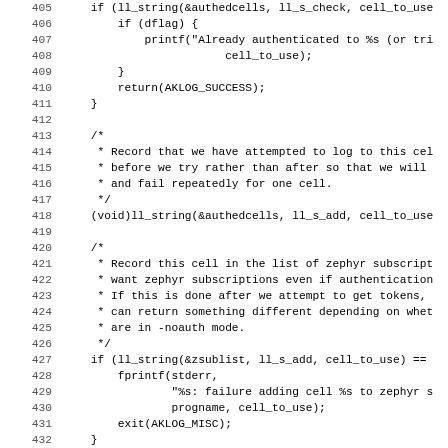[Figure (screenshot): Source code listing in C, lines 405–436+, showing authentication and zephyr subscription logic with line numbers on the left and monospace code on the right.]